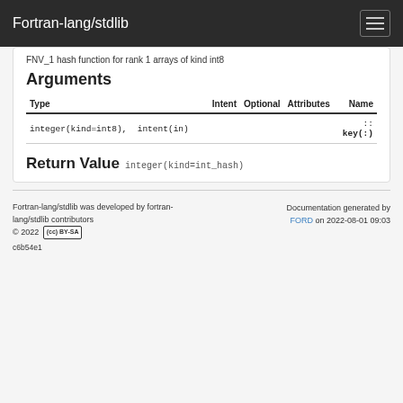Fortran-lang/stdlib
FNV_1 hash function for rank 1 arrays of kind int8
Arguments
| Type | Intent | Optional | Attributes | Name |
| --- | --- | --- | --- | --- |
| integer(kind=int8),  intent(in) |  |  | :: | key(:) |
Return Value  integer(kind=int_hash)
Fortran-lang/stdlib was developed by fortran-lang/stdlib contributors © 2022  CC BY-SA  c6b54e1
Documentation generated by FORD on 2022-08-01 09:03